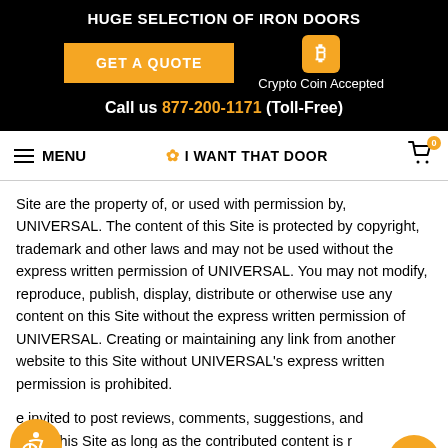HUGE SELECTION OF IRON DOORS
GET A QUOTE | Crypto Coin Accepted
Call us 877-200-1171 (Toll-Free)
MENU | I WANT THAT DOOR | 0
Site are the property of, or used with permission by, UNIVERSAL. The content of this Site is protected by copyright, trademark and other laws and may not be used without the express written permission of UNIVERSAL. You may not modify, reproduce, publish, display, distribute or otherwise use any content on this Site without the express written permission of UNIVERSAL. Creating or maintaining any link from another website to this Site without UNIVERSAL's express written permission is prohibited.
e invited to post reviews, comments, suggestions, and ns on this Site as long as the contributed content is r unlawful or promotes unlawful activity, threatening, defam obscene, pornographic, profane, violating the privacy of thir-